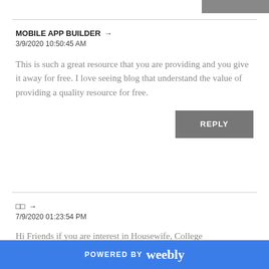MOBILE APP BUILDER ➤
3/9/2020 10:50:45 AM
This is such a great resource that you are providing and you give it away for free. I love seeing blog that understand the value of providing a quality resource for free.
REPLY
□□ ➤
7/9/2020 01:23:54 PM
Hi Friends if you are interest in Housewife, College
POWERED BY weebly